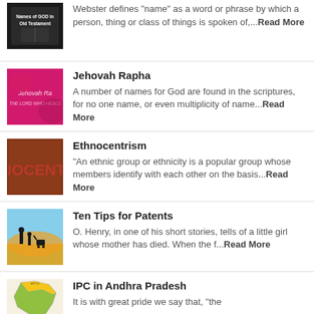Webster defines 'name' as a word or phrase by which a person, thing or class of things is spoken of,...Read More
Jehovah Rapha — A number of names for God are found in the scriptures, for no one name, or even multiplicity of name...Read More
Ethnocentrism — "An ethnic group or ethnicity is a popular group whose members identify with each other on the basis...Read More
Ten Tips for Patents — O. Henry, in one of his short stories, tells of a little girl whose mother has died. When the f...Read More
IPC in Andhra Pradesh — It is with great pride we say that, "the